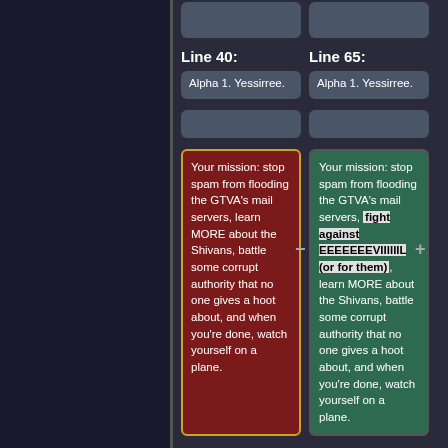Line 40:
Line 65:
Alpha 1. Yessirree.
Alpha 1. Yessirree.
Your mission: stop spam from flooding the GTVA’s mail servers, learn MORE about the Shivans, battle some corrupt authority that no one gives a hoot about, and when you're done, watch yourself on a plane.
Your mission: stop spam from flooding the GTVA’s mail servers, fight against EEEEEEEVIIIIIIL (or for them), learn MORE about the Shivans, battle some corrupt authority that no one gives a hoot about, and when you're done, watch yourself on a plane.